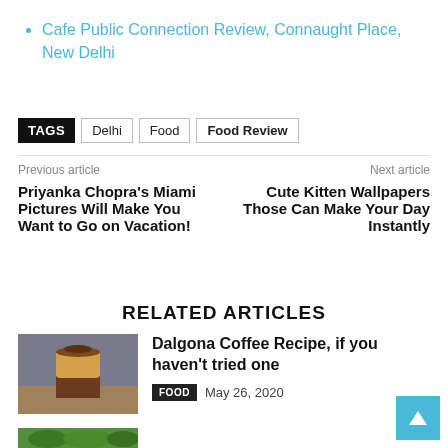Cafe Public Connection Review, Connaught Place, New Delhi
TAGS  Delhi  Food  Food Review
Previous article
Next article
Priyanka Chopra's Miami Pictures Will Make You Want to Go on Vacation!
Cute Kitten Wallpapers Those Can Make Your Day Instantly
RELATED ARTICLES
[Figure (photo): A glass of dalgona coffee with layered cream on top, on a wooden surface]
Dalgona Coffee Recipe, if you haven't tried one
FOOD  May 26, 2020
[Figure (photo): Partial view of a green plant or salad article thumbnail]